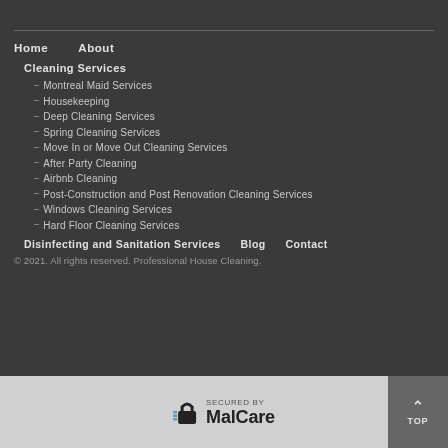Home   About
Cleaning Services
Montreal Maid Services
Housekeeping
Deep Cleaning Services
Spring Cleaning Services
Move In or Move Out Cleaning Services
After Party Cleaning
Airbnb Cleaning
Post-Construction and Post Renovation Cleaning Services
Windows Cleaning Services
Hard Floor Cleaning Services
Disinfecting and Sanitation Services   Blog   Contact
© 2021. All rights reserved. Professional House Cleaning.
[Figure (logo): SECURED by MalCare badge with lock icon and colored dots]